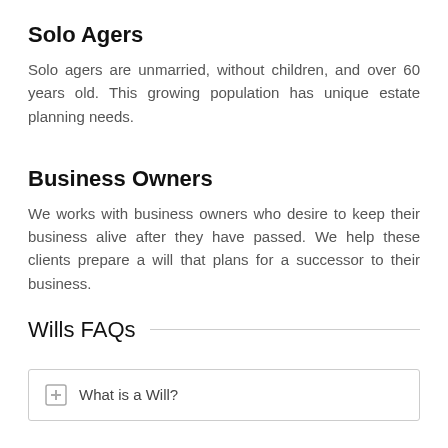Solo Agers
Solo agers are unmarried, without children, and over 60 years old. This growing population has unique estate planning needs.
Business Owners
We works with business owners who desire to keep their business alive after they have passed. We help these clients prepare a will that plans for a successor to their business.
Wills FAQs
What is a Will?